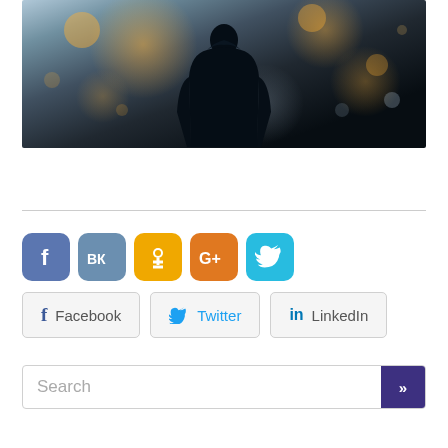[Figure (photo): Dark silhouette of a person seen from behind, walking in a blurry bokeh city night background with warm orange and blue tones.]
[Figure (infographic): Row of five social media icon buttons: Facebook (blue), VK (steel blue), Odnoklassniki (yellow), Google+ (orange), Twitter (cyan)]
[Figure (infographic): Row of three share buttons labeled: Facebook, Twitter, LinkedIn with corresponding icons]
[Figure (screenshot): Search bar with placeholder text 'Search' and a dark purple submit button with >> arrow]